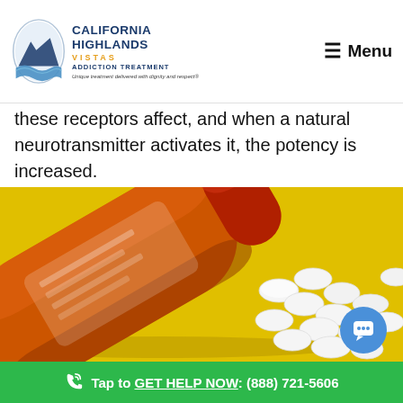California Highlands Vistas Addiction Treatment — Unique treatment delivered with dignity and respect® | Menu
these receptors affect, and when a natural neurotransmitter activates it, the potency is increased.
[Figure (photo): An orange prescription pill bottle lying on its side on a yellow background, with white round tablets spilling out of it.]
Tap to GET HELP NOW: (888) 721-5606